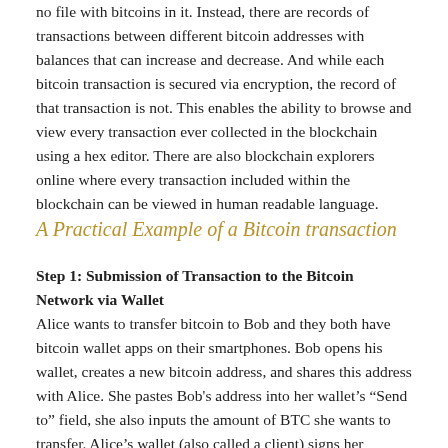no file with bitcoins in it. Instead, there are records of transactions between different bitcoin addresses with balances that can increase and decrease.  And while each bitcoin transaction is secured via encryption, the record of that transaction is not. This enables the ability to browse and view every transaction ever collected in the blockchain using a hex editor. There are also blockchain explorers online where every transaction included within the blockchain can be viewed in human readable language.
A Practical Example of a Bitcoin transaction
Step 1: Submission of Transaction to the Bitcoin Network via Wallet
Alice wants to transfer bitcoin to Bob and they both have bitcoin wallet apps on their smartphones. Bob opens his wallet, creates a new bitcoin address, and shares this address with Alice. She pastes Bob's address into her wallet's "Send to" field, she also inputs the amount of BTC she wants to transfer. Alice's wallet (also called a client) signs her request with her private key corresponding to the address she's